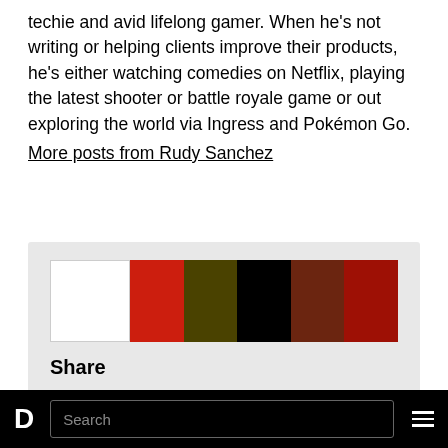techie and avid lifelong gamer. When he's not writing or helping clients improve their products, he's either watching comedies on Netflix, playing the latest shooter or battle royale game or out exploring the world via Ingress and Pokémon Go.
More posts from Rudy Sanchez
[Figure (other): A horizontal color palette strip showing six color swatches: white, bright red, olive/dark yellow, black, dark brown, and dark red.]
Share
[Figure (infographic): Social share icons: Facebook circle icon, Twitter bird icon, and email envelope icon.]
D  Search  ≡